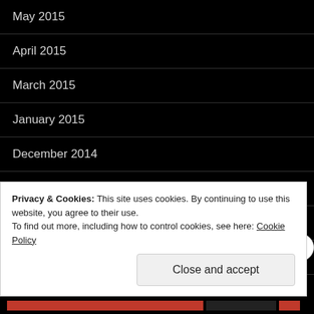May 2015
April 2015
March 2015
January 2015
December 2014
November 2014
October 2014
September 2014
August 2014
Privacy & Cookies: This site uses cookies. By continuing to use this website, you agree to their use.
To find out more, including how to control cookies, see here: Cookie Policy
Close and accept